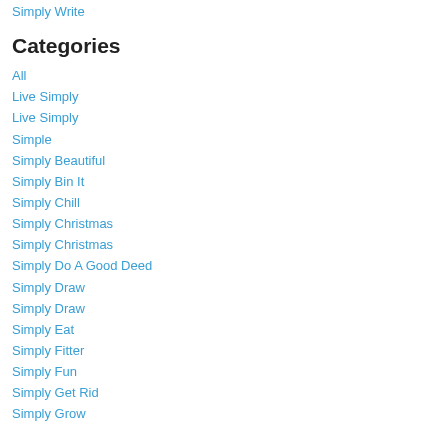Simply Write
Categories
All
Live Simply
Live Simply
Simple
Simply Beautiful
Simply Bin It
Simply Chill
Simply Christmas
Simply Christmas
Simply Do A Good Deed
Simply Draw
Simply Draw
Simply Eat
Simply Fitter
Simply Fun
Simply Get Rid
Simply Grow